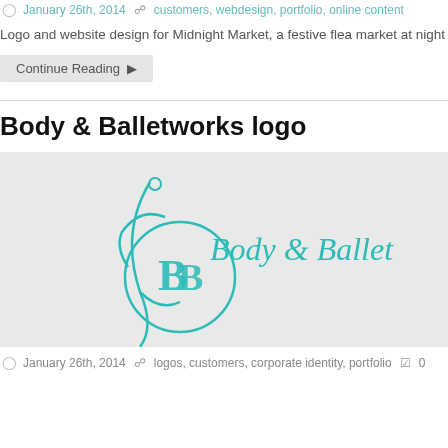January 26th, 2014   customers, webdesign, portfolio, online content
Logo and website design for Midnight Market, a festive flea market at night in Am
Continue Reading ▷
Body & Balletworks logo
[Figure (logo): Body & Balletworks logo featuring a stylized dancer figure and BB monogram in teal, with the text 'Body & Balletworks' in teal script/serif font on a light grey background]
January 26th, 2014   logos, customers, corporate identity, portfolio